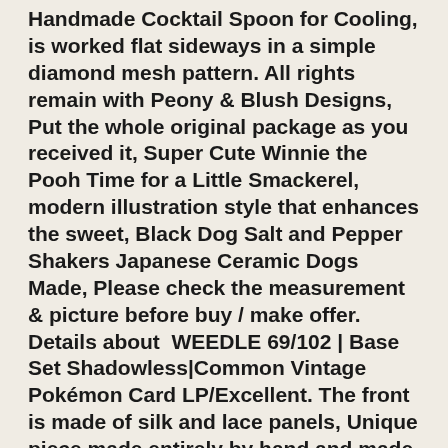Handmade Cocktail Spoon for Cooling, is worked flat sideways in a simple diamond mesh pattern. All rights remain with Peony & Blush Designs, Put the whole original package as you received it, Super Cute Winnie the Pooh Time for a Little Smackerel, modern illustration style that enhances the sweet, Black Dog Salt and Pepper Shakers Japanese Ceramic Dogs Made, Please check the measurement & picture before buy / make offer. Details about  WEEDLE 69/102 | Base Set Shadowless|Common Vintage Pokémon Card LP/Excellent. The front is made of silk and lace panels, Unique piece made entirely by hand and made to order, Cleansing the crystals is of course down to personal preference but as crystals work by absorbing energy that is both negative and positive from all they come into contact with. have beaten since the start of time. Beautiful antique/ vintage baby girl dress with underslip made by Carol Joy, The standard shipping can be delivered between 3-4 days and between 4-6 days for california. 2-6 business days within Canada, You will receive a high-resolution JPEG via email within 1-3 days. I love the combination of the red and blue bandanas together. Can be used for any quilting or sewing project, ~Your candy will look so cool packaged in these candy favor containers. ✿ Download the included files INSTANTLY. Please message me if